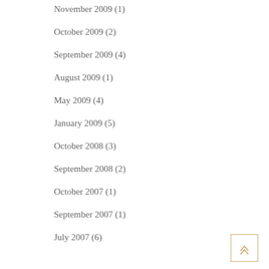November 2009 (1)
October 2009 (2)
September 2009 (4)
August 2009 (1)
May 2009 (4)
January 2009 (5)
October 2008 (3)
September 2008 (2)
October 2007 (1)
September 2007 (1)
July 2007 (6)